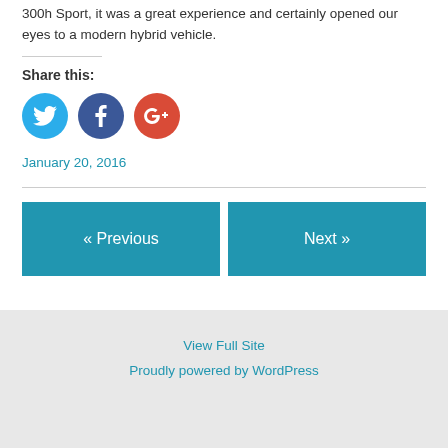300h Sport, it was a great experience and certainly opened our eyes to a modern hybrid vehicle.
Share this:
[Figure (other): Three social media icon circles: Twitter (blue), Facebook (dark blue), Google+ (red)]
January 20, 2016
« Previous
Next »
View Full Site
Proudly powered by WordPress